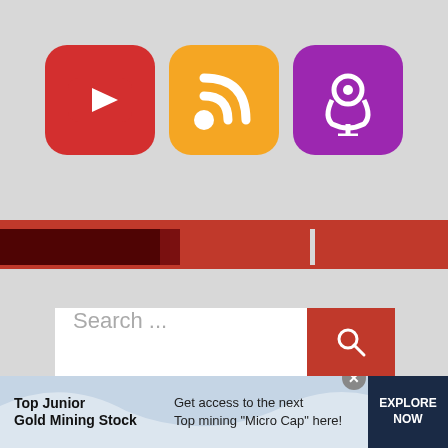[Figure (screenshot): Three app icons in a row: YouTube (red rounded square with white play button), RSS feed (orange rounded square with white RSS symbol), Podcasts (purple rounded square with white podcast microphone icon)]
[Figure (photo): Red and dark banner strip showing a racing-themed image with red metallic elements]
[Figure (screenshot): Search bar with placeholder text 'Search ...' and a red search button with magnifying glass icon]
[Figure (illustration): Black banner advertisement reading 'BE RACE READY' in large bold white text with motorcycle/racing equipment in background]
[Figure (infographic): Bottom advertisement bar with light blue background showing 'Top Junior Gold Mining Stock' on left, 'Get access to the next Top mining "Micro Cap" here!' in middle, and 'EXPLORE NOW' button on dark navy right side, with close X button]